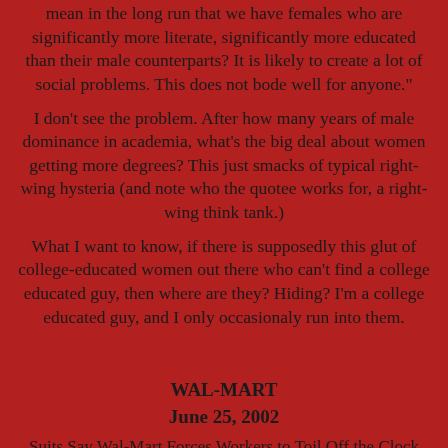mean in the long run that we have females who are significantly more literate, significantly more educated than their male counterparts? It is likely to create a lot of social problems. This does not bode well for anyone."
I don't see the problem. After how many years of male dominance in academia, what's the big deal about women getting more degrees? This just smacks of typical right-wing hysteria (and note who the quotee works for, a right-wing think tank.)
What I want to know, if there is supposedly this glut of college-educated women out there who can't find a college educated guy, then where are they? Hiding? I'm a college educated guy, and I only occasionaly run into them.
WAL-MART
June 25, 2002
Suits Say Wal-Mart Forces Workers to Toil Off the Clock But she and 40 other current and former Wal-Mart workers interviewed over the last four months say Wal-Mart has done just that, forcing or pressuring employees to work hours that were not recorded or paid. Federal and state laws bar employers from making hourly employees work unpaid hours. Wal-Mart's policie...